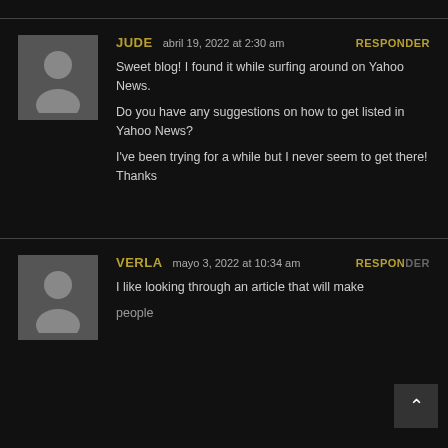JUDE   abril 19, 2022 at 2:30 am   RESPONDER
Sweet blog! I found it while surfing around on Yahoo News.
Do you have any suggestions on how to get listed in Yahoo News?

I've been trying for a while but I never seem to get there!
Thanks
VERLA   mayo 3, 2022 at 10:34 am   RESPONDER
I like looking through an article that will make people